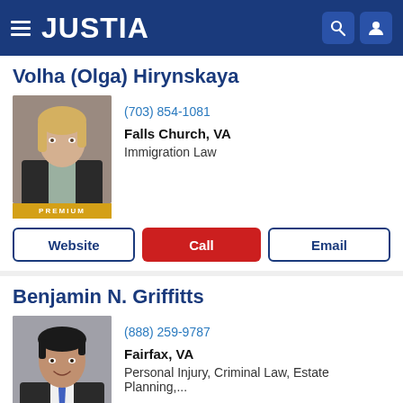[Figure (logo): Justia website header with hamburger menu, JUSTIA logo in white on dark blue background, search and user icons]
Volha (Olga) Hirynskaya
[Figure (photo): Professional headshot of a blonde woman in a dark blazer with a PREMIUM badge]
(703) 854-1081
Falls Church, VA
Immigration Law
Website | Call | Email
Benjamin N. Griffitts
[Figure (photo): Professional headshot of a dark-haired man in a suit with a blue tie with a PREMIUM badge]
(888) 259-9787
Fairfax, VA
Personal Injury, Criminal Law, Estate Planning,...
Website | Call | Email